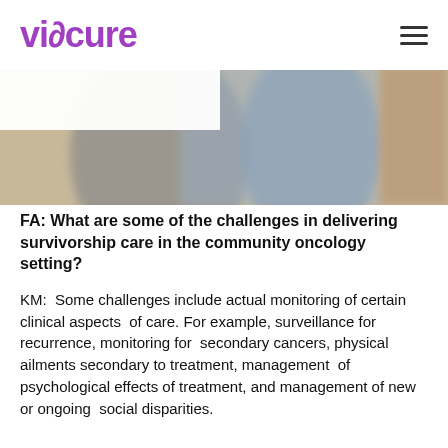viocure
[Figure (photo): Blurred photo showing two people, partially visible, with muted blue and beige tones in what appears to be a medical or casual setting.]
FA: What are some of the challenges in delivering survivorship care in the community oncology setting?
KM:  Some challenges include actual monitoring of certain clinical aspects  of care. For example, surveillance for recurrence, monitoring for  secondary cancers, physical ailments secondary to treatment, management  of psychological effects of treatment, and management of new or ongoing  social disparities.